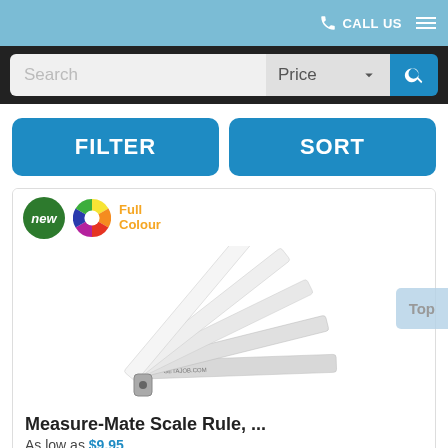CALL US
[Figure (screenshot): Search bar with Price dropdown and search icon button on dark background]
FILTER
SORT
[Figure (photo): Product listing card showing a fan-shaped scale rule set branded GETAJOB.COM, with 'new' badge and 'Full Colour' badge]
Measure-Mate Scale Rule, ...
As low as $9.95